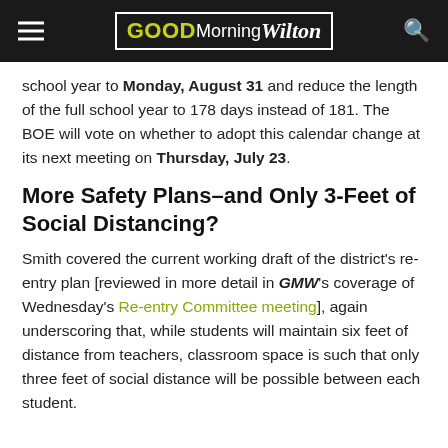GOOD Morning Wilton
school year to Monday, August 31 and reduce the length of the full school year to 178 days instead of 181. The BOE will vote on whether to adopt this calendar change at its next meeting on Thursday, July 23.
More Safety Plans–and Only 3-Feet of Social Distancing?
Smith covered the current working draft of the district's re-entry plan [reviewed in more detail in GMW's coverage of Wednesday's Re-entry Committee meeting], again underscoring that, while students will maintain six feet of distance from teachers, classroom space is such that only three feet of social distance will be possible between each student.